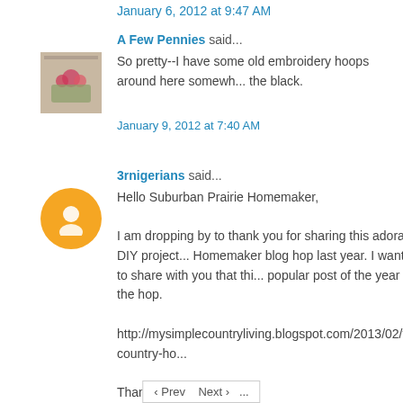January 6, 2012 at 9:47 AM
A Few Pennies said...
So pretty--I have some old embroidery hoops around here somewhere. Love the black.
January 9, 2012 at 7:40 AM
3rnigerians said...
Hello Suburban Prairie Homemaker,

I am dropping by to thank you for sharing this adorable DIY project on the Country Homemaker blog hop last year. I wanted to share with you that this was one of the most popular post of the year for the hop.

http://mysimplecountryliving.blogspot.com/2013/02/the-country-ho...

Thanks again.
Heidi
February 7, 2013 at 3:06 PM
Post a Comment